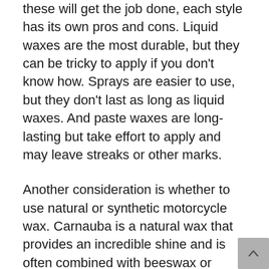these will get the job done, each style has its own pros and cons. Liquid waxes are the most durable, but they can be tricky to apply if you don't know how. Sprays are easier to use, but they don't last as long as liquid waxes. And paste waxes are long-lasting but take effort to apply and may leave streaks or other marks.
Another consideration is whether to use natural or synthetic motorcycle wax. Carnauba is a natural wax that provides an incredible shine and is often combined with beeswax or polymers to protect against water, dust, and bird droppings. Meanwhile, synthetic waxes, also called paint sealants, also create a barrier against the elements.